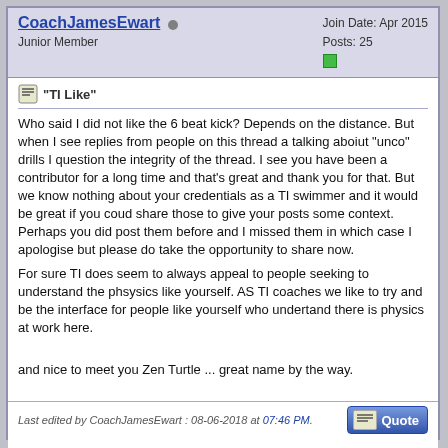CoachJamesEwart | Junior Member | Join Date: Apr 2015 | Posts: 25
"TI Like"
Who said I did not like the 6 beat kick? Depends on the distance. But when I see replies from people on this thread a talking aboiut "unco" drills I question the integrity of the thread. I see you have been a contributor for a long time and that's great and thank you for that. But we know nothing about your credentials as a TI swimmer and it would be great if you coud share those to give your posts some context. Perhaps you did post them before and I missed them in which case I apologise but please do take the opportunity to share now.
For sure TI does seem to always appeal to people seeking to understand the phsysics like yourself. AS TI coaches we like to try and be the interface for people like yourself who undertand there is physics at work here.

and nice to meet you Zen Turtle ... great name by the way.

best regards

James
Last edited by CoachJamesEwart : 08-06-2018 at 07:46 PM.